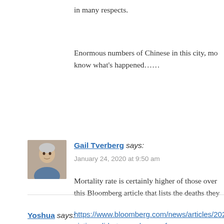in many respects.
Enormous numbers of Chinese in this city, mo know what's happened……
Gail Tverberg says:
January 24, 2020 at 9:50 am
Mortality rate is certainly higher of those over this Bloomberg article that lists the deaths they
https://www.bloomberg.com/news/articles/202 victims-didn-t-even-have-a-fever
According to the title of the article, some didn
Yoshua says: